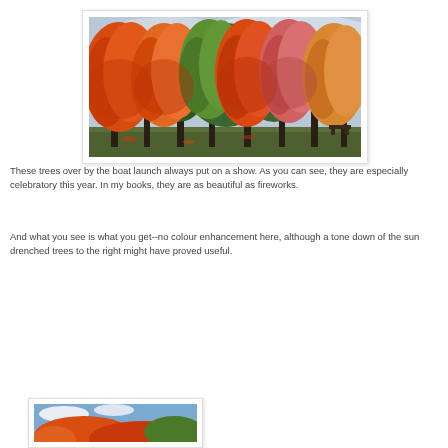[Figure (photo): Autumn trees with vivid orange, red, and green foliage near a boat launch, under a cloudy sky]
These trees over by the boat launch always put on a show. As you can see, they are especially celebratory this year.  In my books, they are as beautiful as fireworks.
And what you see is what you get--no colour enhancement here, although a tone down of the sun drenched trees to the right might have proved useful.
[Figure (photo): Partial view of another autumn tree photo at the bottom of the page]